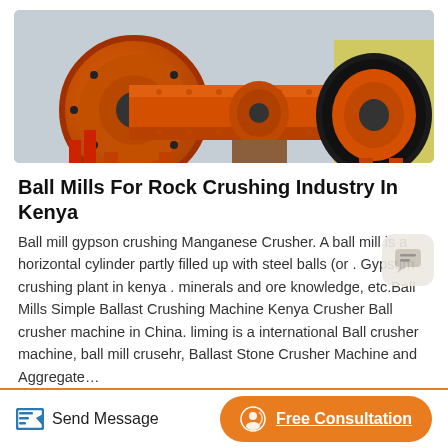[Figure (photo): Large orange industrial ball mills for rock crushing, displayed outdoors in a factory yard. Multiple cylindrical orange machines with gear rings visible, mounted on wooden/metal supports.]
Ball Mills For Rock Crushing Industry In Kenya
Ball mill gypson crushing Manganese Crusher. A ball mill is a horizontal cylinder partly filled up with steel balls (or . Gypsum crushing plant in kenya . minerals and ore knowledge, etc.Ball Mills Simple Ballast Crushing Machine Kenya Crusher Ball crusher machine in China. liming is a international Ball crusher machine, ball mill crusehr, Ballast Stone Crusher Machine and Aggregate…
Send Message | Free Consultation